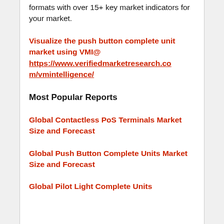formats with over 15+ key market indicators for your market.
Visualize the push button complete unit market using VMI@ https://www.verifiedmarketresearch.com/vmintelligence/
Most Popular Reports
Global Contactless PoS Terminals Market Size and Forecast
Global Push Button Complete Units Market Size and Forecast
Global Pilot Light Complete Units